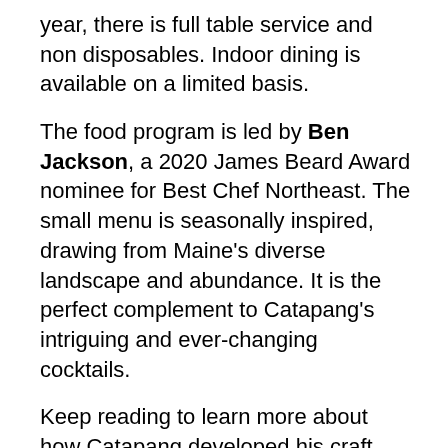year, there is full table service and non disposables. Indoor dining is available on a limited basis.
The food program is led by Ben Jackson, a 2020 James Beard Award nominee for Best Chef Northeast. The small menu is seasonally inspired, drawing from Maine's diverse landscape and abundance. It is the perfect complement to Catapang's intriguing and ever-changing cocktails.
Keep reading to learn more about how Catapang developed his craft, why the Crowd Surfer is one of his favorite cocktails on the menu, and where you can find him dining in Portland on his nights off.
THE INTERVIEW
AA: How did working with Bowman Brown influence your craft?